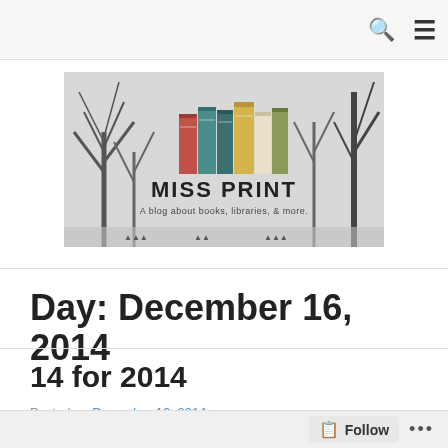[Figure (logo): Miss Print blog logo: colorful book spines against a black-and-white winter tree background, with text 'MISS PRINT' and subtitle 'A blog about books, libraries, & more.']
Day: December 16, 2014
14 for 2014
Posted on December 16, 2014